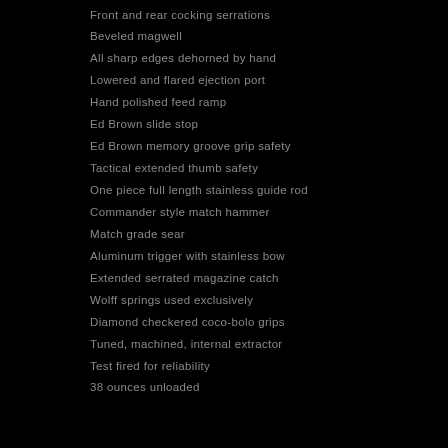Front and rear cocking serrations
Beveled magwell
All sharp edges dehorned by hand
Lowered and flared ejection port
Hand polished feed ramp
Ed Brown slide stop
Ed Brown memory groove grip safety
Tactical extended thumb safety
One piece full length stainless guide rod
Commander style match hammer
Match grade sear
Aluminum trigger with stainless bow
Extended serrated magazine catch
Wolff springs used exclusively
Diamond checkered coco-bolo grips
Tuned, machined, internal extractor
Test fired for reliability
38 ounces unloaded